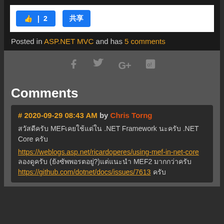[Figure (other): Like button showing thumbs up icon with count 2, and a Share button, both in blue on white background]
Posted in ASP.NET MVC and has 5 comments
[Figure (other): Social share icons: Facebook, Twitter, Google+, and another platform, all in grey]
Comments
# 2020-09-29 08:43 AM by Chris Torng
ขอบคุณ MEFเคยใช้แต่ใน .NET Framework นะครับ .NET Core ครับ https://weblogs.asp.net/ricardoperes/using-mef-in-net-core ลองดูครับ (ยังซัพพอร์ตอยู่?)แต่แนะนำ MEF2 มากกว่าครับ https://github.com/dotnet/docs/issues/7613 ครับ